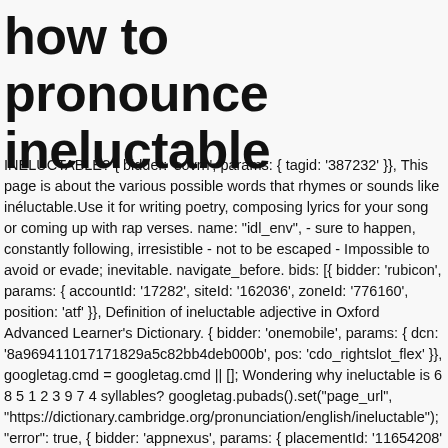how to pronounce ineluctable
INÉLUCTABLE? { bidder: 'sovrn', params: { tagid: '387232' }}, This page is about the various possible words that rhymes or sounds like inéluctable.Use it for writing poetry, composing lyrics for your song or coming up with rap verses. name: "idl_env", - sure to happen, constantly following, irresistible - not to be escaped - Impossible to avoid or evade; inevitable. navigate_before. bids: [{ bidder: 'rubicon', params: { accountId: '17282', siteId: '162036', zoneId: '776160', position: 'atf' }}, Definition of ineluctable adjective in Oxford Advanced Learner's Dictionary. { bidder: 'onemobile', params: { dcn: '8a969411017171829a5c82bb4deb000b', pos: 'cdo_rightslot_flex' }}, googletag.cmd = googletag.cmd || []; Wondering why ineluctable is 6 8 5 1 2 3 9 7 4 syllables? googletag.pubads().set("page_url", "https://dictionary.cambridge.org/pronunciation/english/ineluctable"); "error": true, { bidder: 'appnexus', params: { placementId: '11654208' }}, ineluctable pronunciation - How to properly say ineluctable. { bidder: 'triplelift', params: { inventoryCode: 'Cambridge_HDX' }}, { bidder: 'criteo', params: { networkId: 7100, publisherSubId: 'cdo_topslot' }},